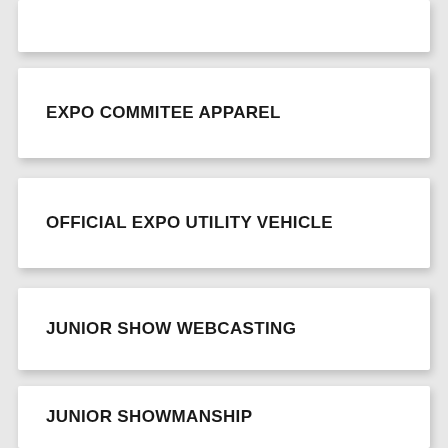EXPO COMMITEE APPAREL
OFFICIAL EXPO UTILITY VEHICLE
JUNIOR SHOW WEBCASTING
JUNIOR SHOWMANSHIP